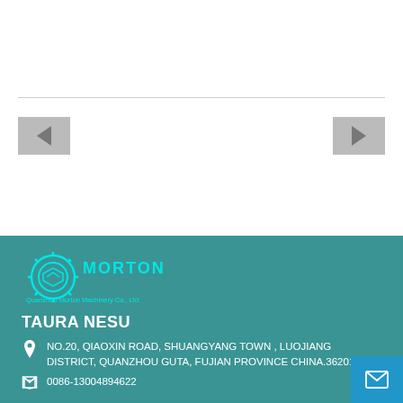Zvigadzirwa Zvikamu
[Figure (logo): Morton knitting machine company logo - circular gear-like emblem with MORTON text and 'Quanzhou Morton Machinery Co., Ltd' subtitle in teal]
TAURA NESU
NO.20, QIAOXIN ROAD, SHUANGYANG TOWN , LUOJIANG DISTRICT, QUANZHOU GUTA, FUJIAN PROVINCE CHINA.362012.
0086-13004894622
joanna@mortonknitmachine.com